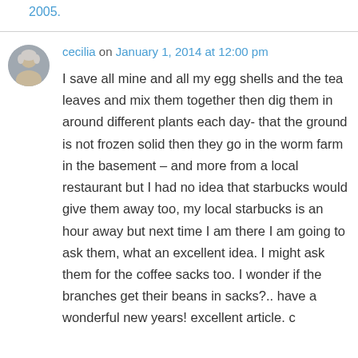2005.
cecilia on January 1, 2014 at 12:00 pm
I save all mine and all my egg shells and the tea leaves and mix them together then dig them in around different plants each day- that the ground is not frozen solid then they go in the worm farm in the basement – and more from a local restaurant but I had no idea that starbucks would give them away too, my local starbucks is an hour away but next time I am there I am going to ask them, what an excellent idea. I might ask them for the coffee sacks too. I wonder if the branches get their beans in sacks?.. have a wonderful new years! excellent article. c